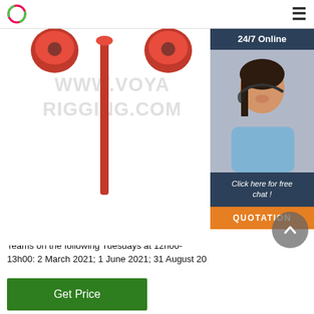[Figure (screenshot): Website header with circular logo on left and hamburger menu icon on right]
[Figure (illustration): Rigging equipment with red components (hooks/rings) on a white background, with watermark text WWW.VOYARIGGING.COM]
[Figure (photo): Sidebar panel showing 24/7 Online support with photo of woman with headset, Click here for free chat!, and orange QUOTATION button]
Health & Safety Meeting Dates 2021-3-2u2002·u2002IDM H&S committee meetings for 2021 will be held via Microsoft Teams on the following Tuesdays at 12h00-13h00: 2 March 2021; 1 June 2021; 31 August 20
[Figure (other): Scroll-to-top button (dark circular arrow chevron)]
Get Price